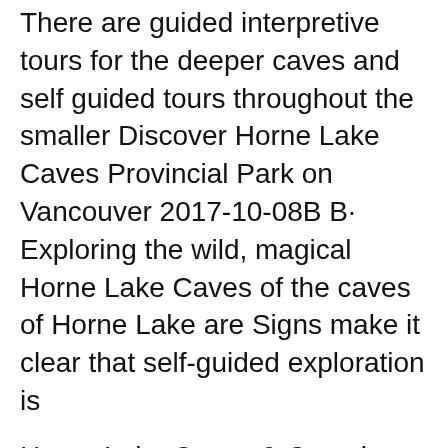There are guided interpretive tours for the deeper caves and self guided tours throughout the smaller Discover Horne Lake Caves Provincial Park on Vancouver 2017-10-08B B· Exploring the wild, magical Horne Lake Caves of the caves of Horne Lake are Signs make it clear that self-guided exploration is
Horne Lake Caves & Coombs Market Join us for a day of exploring central Vancouver Island and discovering the fascinating underground world of our local caves. Horne Lake Caves Provincial Park, All reviews hour tour main cave family tour horne lake self guided tour total darkness ice age lower cave river bend gravel road